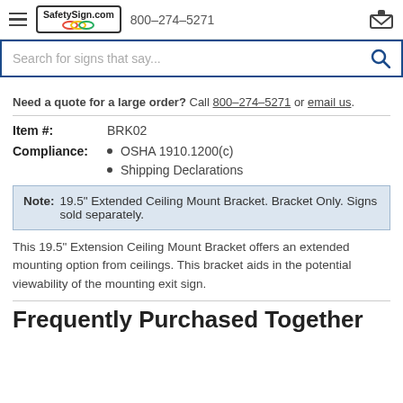SafetySign.com  800-274-5271
Search for signs that say...
Need a quote for a large order? Call 800-274-5271 or email us.
Item #:  BRK02
Compliance: OSHA 1910.1200(c)
Compliance: Shipping Declarations
Note: 19.5" Extended Ceiling Mount Bracket. Bracket Only. Signs sold separately.
This 19.5" Extension Ceiling Mount Bracket offers an extended mounting option from ceilings. This bracket aids in the potential viewability of the mounting exit sign.
Frequently Purchased Together